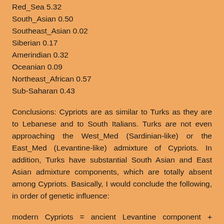Red_Sea 5.32
South_Asian 0.50
Southeast_Asian 0.02
Siberian 0.17
Amerindian 0.32
Oceanian 0.09
Northeast_African 0.57
Sub-Saharan 0.43
Conclusions: Cypriots are as similar to Turks as they are to Lebanese and to South Italians. Turks are not even approaching the West_Med (Sardinian-like) or the East_Med (Levantine-like) admixture of Cypriots. In addition, Turks have substantial South Asian and East Asian admixture components, which are totally absent among Cypriots. Basically, I would conclude the following, in order of genetic influence:
modern Cypriots = ancient Levantine component + ancient European Mediterranean component + ancient Anatolian component + other (NW